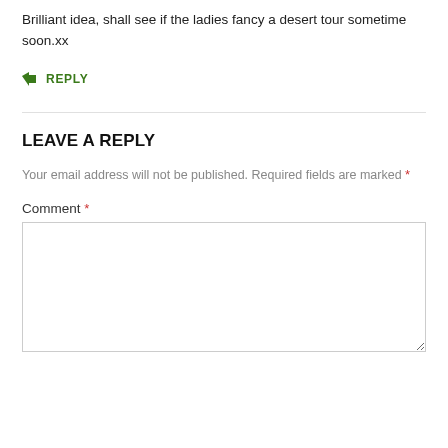Brilliant idea, shall see if the ladies fancy a desert tour sometime soon.xx
↳ REPLY
LEAVE A REPLY
Your email address will not be published. Required fields are marked *
Comment *